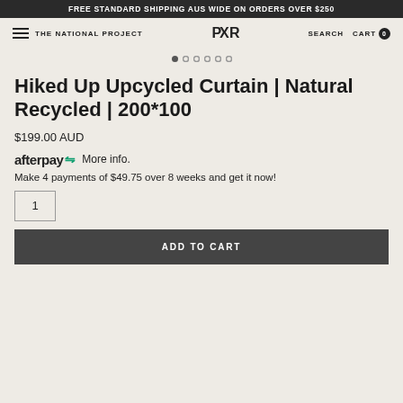FREE STANDARD SHIPPING AUS WIDE ON ORDERS OVER $250
THE NATIONAL PROJECT | PXR | SEARCH | CART 0
[Figure (other): Carousel dot navigation: 6 dots, first dot filled/active]
Hiked Up Upcycled Curtain | Natural Recycled | 200*100
$199.00 AUD
afterpay More info.
Make 4 payments of $49.75 over 8 weeks and get it now!
1
ADD TO CART